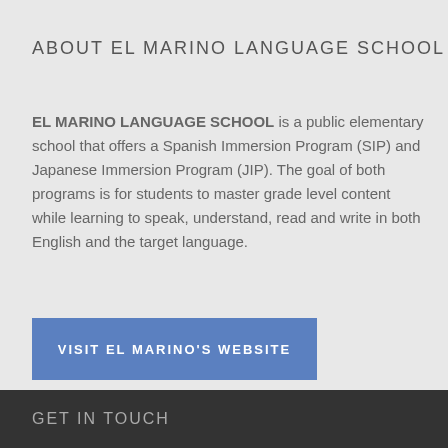ABOUT EL MARINO LANGUAGE SCHOOL
EL MARINO LANGUAGE SCHOOL is a public elementary school that offers a Spanish Immersion Program (SIP) and Japanese Immersion Program (JIP). The goal of both programs is for students to master grade level content while learning to speak, understand, read and write in both English and the target language.
VISIT EL MARINO'S WEBSITE
GET IN TOUCH